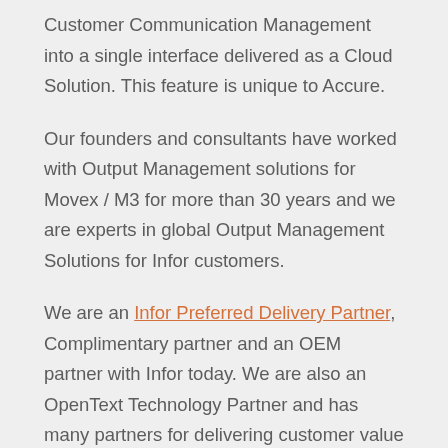Customer Communication Management into a single interface delivered as a Cloud Solution. This feature is unique to Accure.
Our founders and consultants have worked with Output Management solutions for Movex / M3 for more than 30 years and we are experts in global Output Management Solutions for Infor customers.
We are an Infor Preferred Delivery Partner, Complimentary partner and an OEM partner with Infor today. We are also an OpenText Technology Partner and has many partners for delivering customer value in our Service Gateway for Output management in Accure